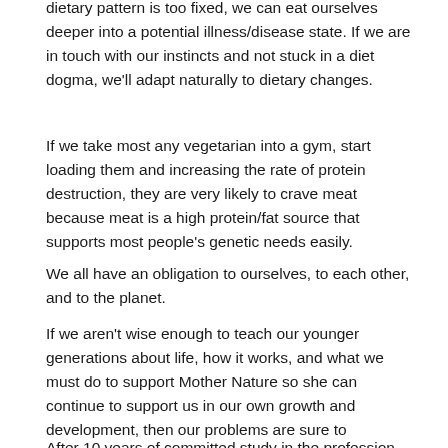dietary pattern is too fixed, we can eat ourselves deeper into a potential illness/disease state. If we are in touch with our instincts and not stuck in a diet dogma, we'll adapt naturally to dietary changes.
If we take most any vegetarian into a gym, start loading them and increasing the rate of protein destruction, they are very likely to crave meat because meat is a high protein/fat source that supports most people's genetic needs easily.
We all have an obligation to ourselves, to each other, and to the planet.
If we aren't wise enough to teach our younger generations about life, how it works, and what we must do to support Mother Nature so she can continue to support us in our own growth and development, then our problems are sure to escalate.
After 10 years of committed study in the profession of